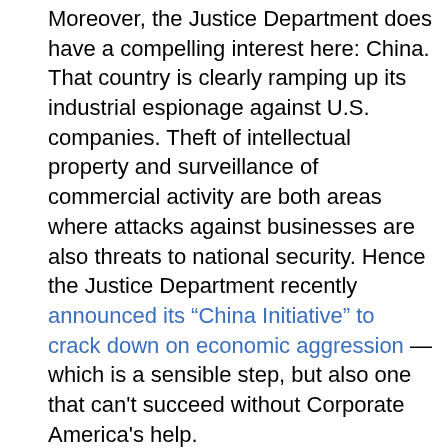Moreover, the Justice Department does have a compelling interest here: China. That country is clearly ramping up its industrial espionage against U.S. companies. Theft of intellectual property and surveillance of commercial activity are both areas where attacks against businesses are also threats to national security. Hence the Justice Department recently announced its “China Initiative” to crack down on economic aggression — which is a sensible step, but also one that can't succeed without Corporate America's help.
On the other hand, companies that admit to cybersecurity breaches have other